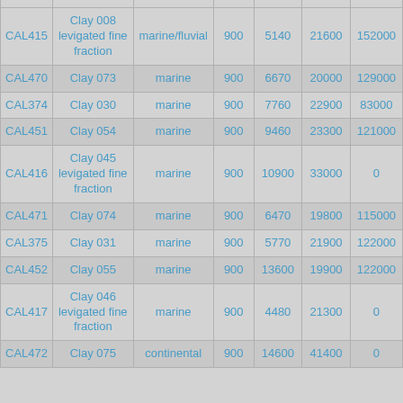|  |  |  |  |  |  |  |
| --- | --- | --- | --- | --- | --- | --- |
| CAL415 | Clay 008 levigated fine fraction | marine/fluvial | 900 | 5140 | 21600 | 152000 |
| CAL470 | Clay 073 | marine | 900 | 6670 | 20000 | 129000 |
| CAL374 | Clay 030 | marine | 900 | 7760 | 22900 | 83000 |
| CAL451 | Clay 054 | marine | 900 | 9460 | 23300 | 121000 |
| CAL416 | Clay 045 levigated fine fraction | marine | 900 | 10900 | 33000 | 0 |
| CAL471 | Clay 074 | marine | 900 | 6470 | 19800 | 115000 |
| CAL375 | Clay 031 | marine | 900 | 5770 | 21900 | 122000 |
| CAL452 | Clay 055 | marine | 900 | 13600 | 19900 | 122000 |
| CAL417 | Clay 046 levigated fine fraction | marine | 900 | 4480 | 21300 | 0 |
| CAL472 | Clay 075 | continental | 900 | 14600 | 41400 | 0 |